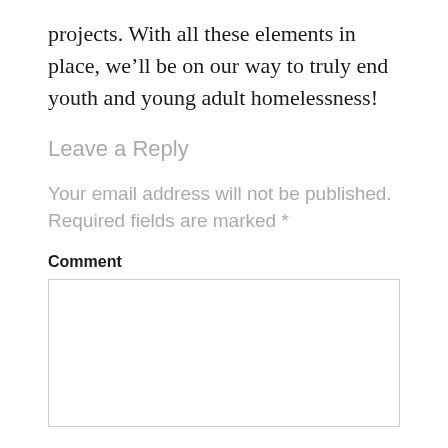projects. With all these elements in place, we’ll be on our way to truly end youth and young adult homelessness!
Leave a Reply
Your email address will not be published. Required fields are marked *
Comment
[Figure (other): Empty comment text area input box]